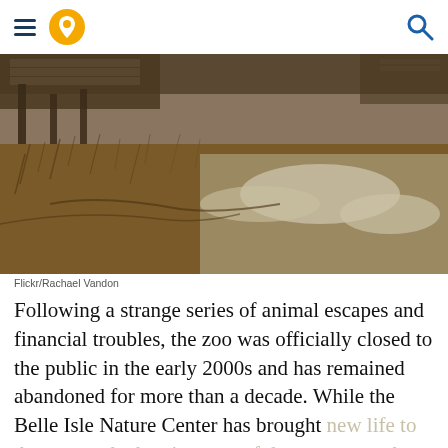Navigation header with hamburger menu, location pin icon, and search icon
[Figure (photo): Abandoned zoo grounds showing overgrown dry brush, weeds, concrete slabs partially covered with snow/ice, and wooden structures in the background. Bleak winter scene.]
Flickr/Rachael Vandon
Following a strange series of animal escapes and financial troubles, the zoo was officially closed to the public in the early 2000s and has remained abandoned for more than a decade. While the Belle Isle Nature Center has brought new life to the area and taken in some of the creatures who previously called the zoo home, the original complex reflects a sense of sadness. If you've ever wondered what it's like to experience the defunct and decidedly eerie zoo structures that once bustled with activity, you're in luck: